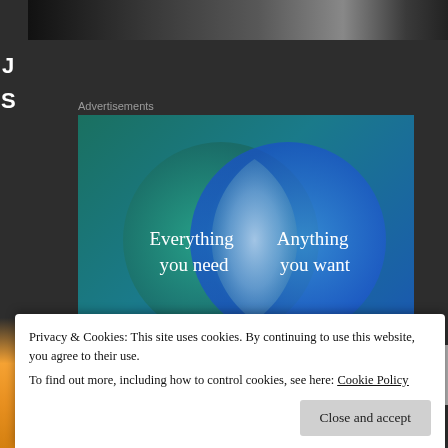[Figure (screenshot): Top of page showing dark background with partial image banner across the top]
Advertisements
[Figure (infographic): Advertisement banner featuring a Venn diagram with two overlapping circles on a blue-green gradient background. Left circle (teal/green) contains text 'Everything you need'. Right circle (blue) contains text 'Anything you want'. The overlapping intersection is a lighter blue-white lens shape. A pink button appears at the bottom of the ad.]
Privacy & Cookies: This site uses cookies. By continuing to use this website, you agree to their use.
To find out more, including how to control cookies, see here: Cookie Policy
Close and accept